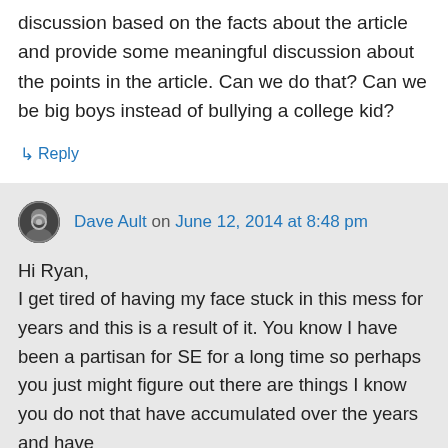discussion based on the facts about the article and provide some meaningful discussion about the points in the article. Can we do that? Can we be big boys instead of bullying a college kid?
↳ Reply
Dave Ault on June 12, 2014 at 8:48 pm
Hi Ryan,
I get tired of having my face stuck in this mess for years and this is a result of it. You know I have been a partisan for SE for a long time so perhaps you just might figure out there are things I know you do not that have accumulated over the years and have